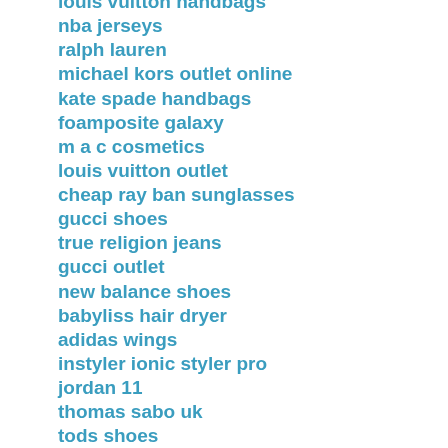louis vuitton handbags
nba jerseys
ralph lauren
michael kors outlet online
kate spade handbags
foamposite galaxy
m a c cosmetics
louis vuitton outlet
cheap ray ban sunglasses
gucci shoes
true religion jeans
gucci outlet
new balance shoes
babyliss hair dryer
adidas wings
instyler ionic styler pro
jordan 11
thomas sabo uk
tods shoes
instyler ionic styler
louis vuitton outlet
michael kors handbags
lacoste polo shirts